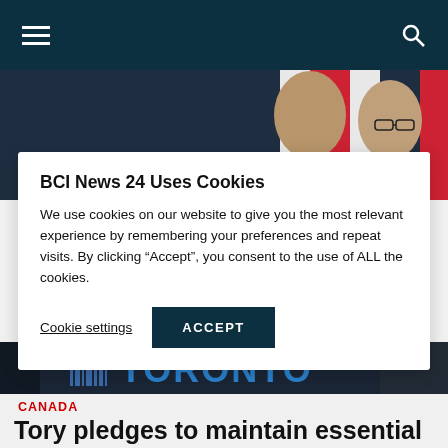BCI News 24 — navigation bar with hamburger menu and search icon
[Figure (photo): Two men at a press conference with Canadian flags in background]
BCI News 24 Uses Cookies
We use cookies on our website to give you the most relevant experience by remembering your preferences and repeat visits. By clicking "Accept", you consent to the use of ALL the cookies.
Cookie settings  ACCEPT
[Figure (photo): Bottom portion of press conference photo showing Toronto sign]
CANADA
Tory pledges to maintain essential services as Omicron threatens